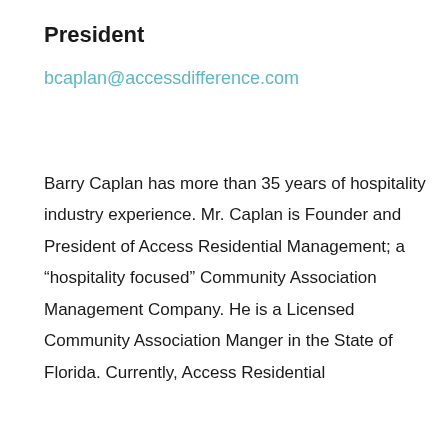President
bcaplan@accessdifference.com
Barry Caplan has more than 35 years of hospitality industry experience. Mr. Caplan is Founder and President of Access Residential Management; a “hospitality focused” Community Association Management Company. He is a Licensed Community Association Manger in the State of Florida. Currently, Access Residential